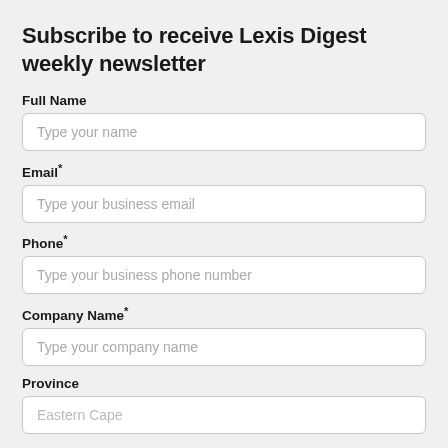Subscribe to receive Lexis Digest weekly newsletter
Full Name
Type your name
Email*
Type your business email
Phone*
Type your business phone number
Company Name*
Type your company name
Province
Eastern Cape